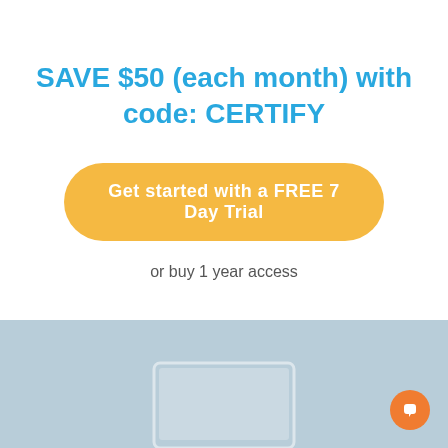SAVE $50 (each month) with code: CERTIFY
Get started with a FREE 7 Day Trial
or buy 1 year access
[Figure (screenshot): Light blue-grey background section at the bottom of the page with a partial laptop/computer illustration and an orange chat bubble icon in the bottom right corner]